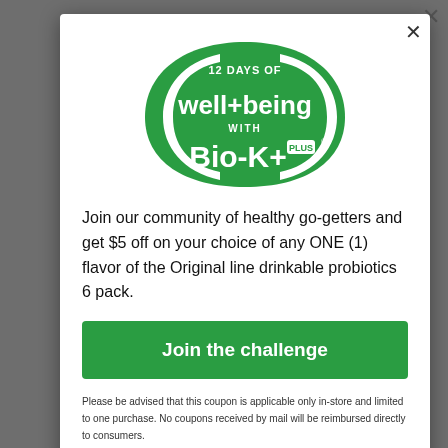[Figure (logo): 12 Days of well+being with Bio-K+ PLUS logo — green pill/capsule shape with white text]
Join our community of healthy go-getters and get $5 off on your choice of any ONE (1) flavor of the Original line drinkable probiotics 6 pack.
Join the challenge
Please be advised that this coupon is applicable only in-store and limited to one purchase. No coupons received by mail will be reimbursed directly to consumers.